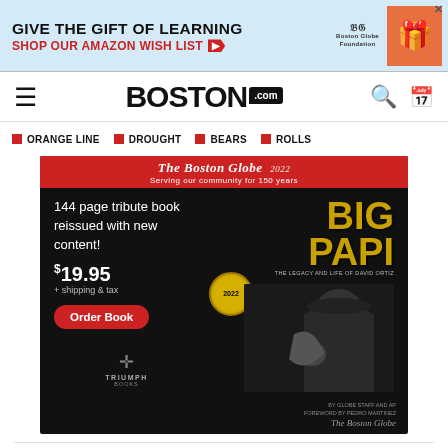[Figure (illustration): Top advertisement banner: GIVE THE GIFT OF LEARNING / SHOP OUR AMAZON WISH LIST with Boston Globe Foundation logo and gift illustration]
BOSTON.COM navigation bar with hamburger menu, Boston.com logo, search and calendar icons
ORANGE LINE
DROUGHT
BEARS
ROLLS
[Figure (illustration): Boston Globe advertisement for Big Papi tribute book: '144 page tribute book reissued with new content! $19.95 + shipping & tax. Order Book.' Right side shows large text BIG PAPI in gold and baseball player photo. Triumph Books logo at bottom. 2022 medal badge.]
What to expect for much of the remainder of the